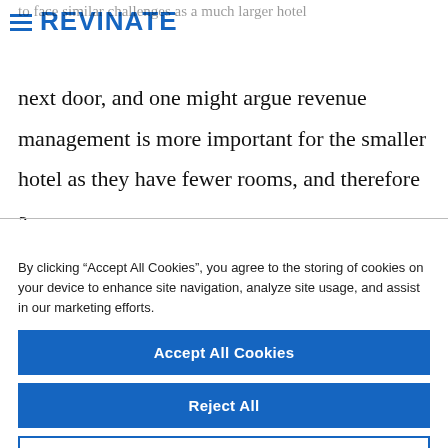REVINATE
to face similar challenges as a much larger hotel next door, and one might argue revenue management is more important for the smaller hotel as they have fewer rooms, and therefore a
By clicking “Accept All Cookies”, you agree to the storing of cookies on your device to enhance site navigation, analyze site usage, and assist in our marketing efforts.
Accept All Cookies
Reject All
Cookies Settings